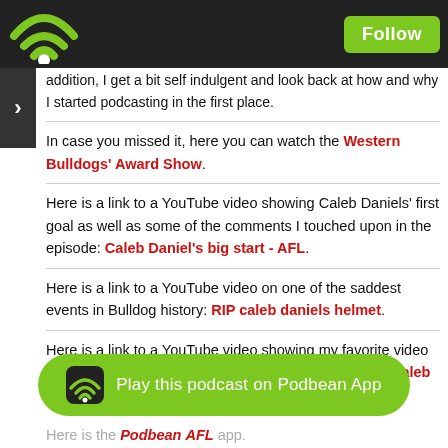Follow
addition, I get a bit self indulgent and look back at how and why I started podcasting in the first place.
In case you missed it, here you can watch the Western Bulldogs' Award Show.
Here is a link to a YouTube video showing Caleb Daniels' first goal as well as some of the comments I touched upon in the episode: Caleb Daniel's big start - AFL.
Here is a link to a YouTube video on one of the saddest events in Bulldog history: RIP caleb daniels helmet.
Here is a link to a YouTube video showing my favorite video of a NAB Mini Legend: Mini Caleb Daniel meets big Caleb Daniel.
Here is the Podbean Play this podcast on Podbean App AFL app.